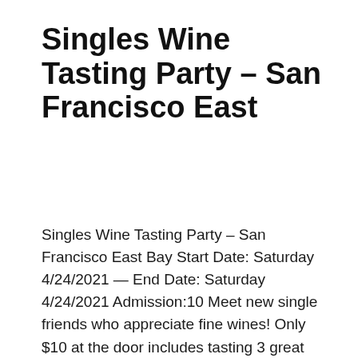Singles Wine Tasting Party – San Francisco East
Singles Wine Tasting Party – San Francisco East Bay Start Date: Saturday 4/24/2021 — End Date: Saturday 4/24/2021 Admission:10 Meet new single friends who appreciate fine wines! Only $10 at the door includes tasting 3 great wines, OUTDOORS in the lovely Livermore Valley! Adults of all ages welcome. Saturday, April 24, 2021, 4–6pm. BRING A MASK AND PROOF OF VACCINATION. Your safety is our greatest priority! If you have not yet been fully